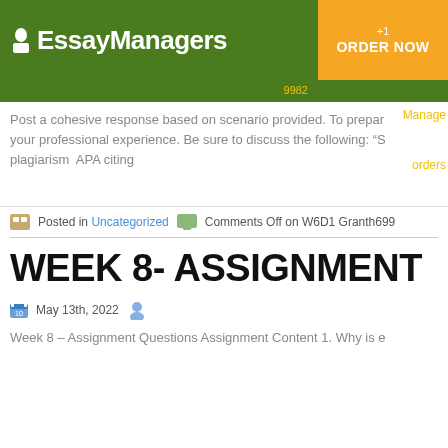Essay Managers
+1
ORDER NOW
9982
Post a cohesive response based on scenario provided. To prepare your professional experience. Be sure to discuss the following: "S plagiarism  APA citing
Manage orders
Posted in Uncategorized   Comments Off on W6D1 Granth699
WEEK 8- ASSIGNMENT
May 13th, 2022
Week 8 – Assignment Questions Assignment Content 1. Why is e